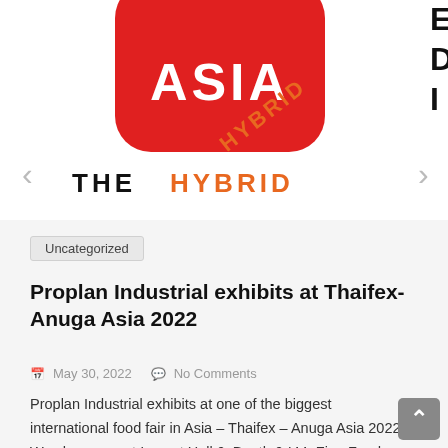[Figure (logo): Thaifex-Anuga Asia logo with red rounded rectangle, white ASIA text, and THE HYBRID text in orange/black. EDI text visible on right edge.]
Uncategorized
Proplan Industrial exhibits at Thaifex-Anuga Asia 2022
May 30, 2022   No Comments
Proplan Industrial exhibits at one of the biggest international food fair in Asia – Thaifex – Anuga Asia 2022. We showcase at Impact Hall 6, Booth 6-I44, Fine Foods Zone.